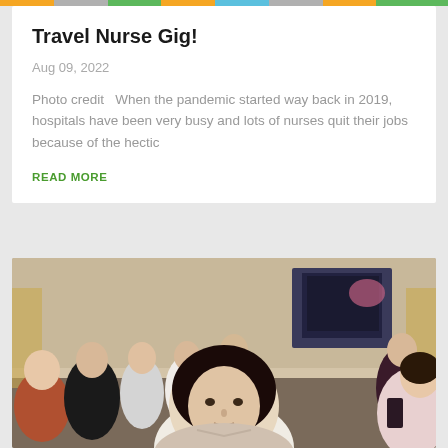Travel Nurse Gig!
Aug 09, 2022
Photo credit   When the pandemic started way back in 2019, hospitals have been very busy and lots of nurses quit their jobs because of the hectic
READ MORE
[Figure (photo): Group of people seated in a formal meeting room, listening attentively. A woman with dark hair is in the foreground, with several other men and women visible behind her in professional attire.]